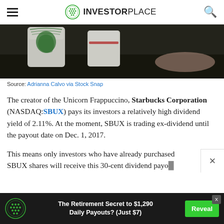INVESTORPLACE
[Figure (photo): Starbucks coffee cups on a dark surface, partial view showing green Starbucks logo on white cups]
Source: Adrianna Calvo via Stock Snap
The creator of the Unicorn Frappuccino, Starbucks Corporation (NASDAQ:SBUX) pays its investors a relatively high dividend yield of 2.11%. At the moment, SBUX is trading ex-dividend until the payout date on Dec. 1, 2017.
This means only investors who have already purchased SBUX shares will receive this 30-cent dividend payo